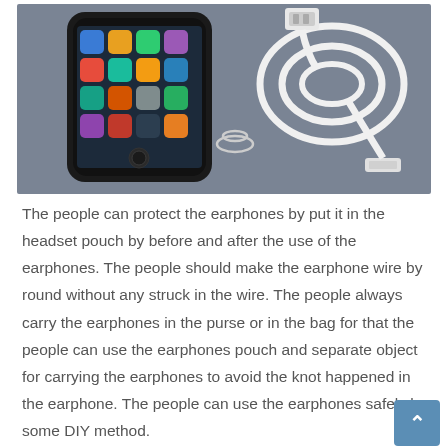[Figure (photo): A smartphone (iPhone) with a colorful app grid on its screen, a coiled white USB/dock cable, and a paper clip, all resting on a dark gray surface.]
The people can protect the earphones by put it in the headset pouch by before and after the use of the earphones. The people should make the earphone wire by round without any struck in the wire. The people always carry the earphones in the purse or in the bag for that the people can use the earphones pouch and separate object for carrying the earphones to avoid the knot happened in the earphone. The people can use the earphones safely by some DIY method.